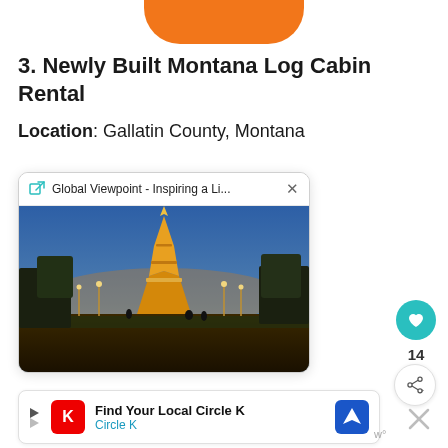[Figure (other): Orange rounded button/tab at top center of page]
3. Newly Built Montana Log Cabin Rental
Location: Gallatin County, Montana
[Figure (screenshot): Browser popup card showing 'Global Viewpoint - Inspiring a Li...' with a photo of the Eiffel Tower at dusk/night with illuminated lights, park in foreground]
[Figure (other): Side UI: teal heart/like button, count '14', share button]
[Figure (other): Ad banner: Find Your Local Circle K, Circle K logo, navigation icon, dismiss X button]